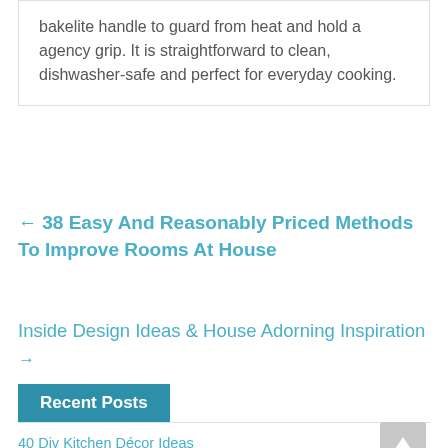bakelite handle to guard from heat and hold a agency grip. It is straightforward to clean, dishwasher-safe and perfect for everyday cooking.
← 38 Easy And Reasonably Priced Methods To Improve Rooms At House
Inside Design Ideas & House Adorning Inspiration →
Recent Posts
40 Diy Kitchen Décor Ideas
Diy Kitchen Decor Ideas